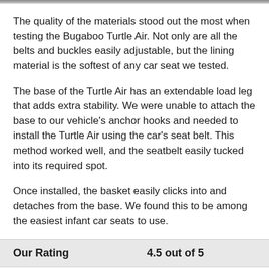[Figure (photo): Partial image strip visible at the top of the page]
The quality of the materials stood out the most when testing the Bugaboo Turtle Air. Not only are all the belts and buckles easily adjustable, but the lining material is the softest of any car seat we tested.
The base of the Turtle Air has an extendable load leg that adds extra stability. We were unable to attach the base to our vehicle's anchor hooks and needed to install the Turtle Air using the car's seat belt. This method worked well, and the seatbelt easily tucked into its required spot.
Once installed, the basket easily clicks into and detaches from the base. We found this to be among the easiest infant car seats to use.
| Our Rating | 4.5 out of 5 |
| --- | --- |
|  |  |